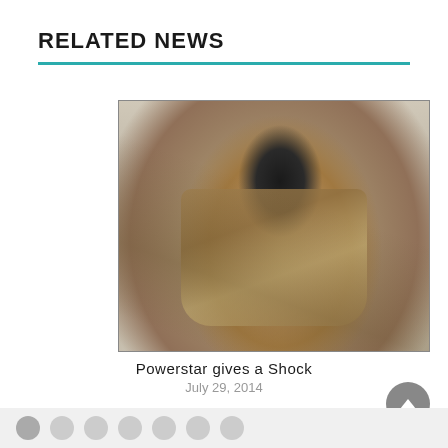RELATED NEWS
[Figure (photo): A man dressed in a police officer uniform in an action pose, holding a baton/staff with both hands crossed, wearing a watch and accessories. The photo appears to be a movie promotional still.]
Powerstar gives a Shock
July 29, 2014